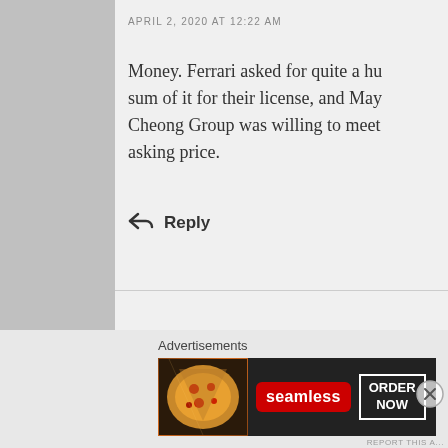APRIL 2, 2020 AT 12:22 AM
Money. Ferrari asked for quite a huge sum of it for their license, and May Cheong Group was willing to meet the asking price.
↩ Reply
[Figure (illustration): Gray sidebar block on left side]
[Figure (infographic): Seamless food delivery advertisement banner with pizza image, Seamless logo in red, and ORDER NOW button]
Advertisements